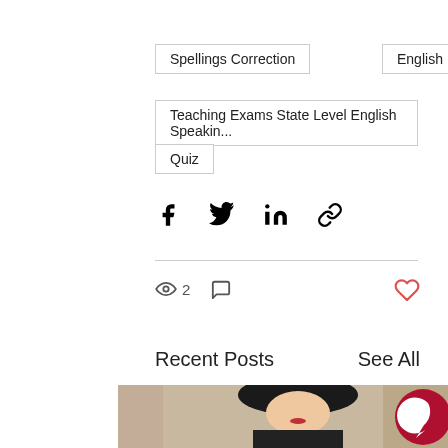Spellings Correction
English
Teaching Exams State Level English Speakin...
Quiz
[Figure (infographic): Social share icons: Facebook, Twitter, LinkedIn, Link/copy]
[Figure (infographic): Views count: 2, comment icon, heart/like button]
Recent Posts
See All
[Figure (photo): Recent posts thumbnails: partial left image, center portrait of a woman with dark hair and red lips against beige wall, partial right image with Coursemojo logo overlay]